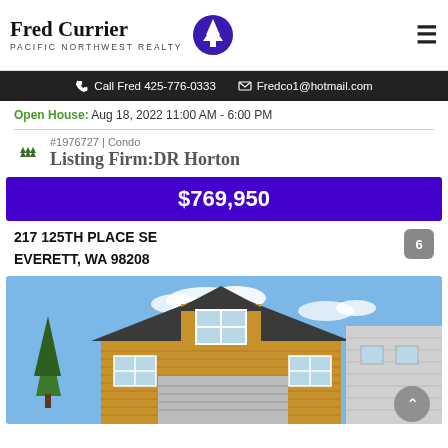Fred Currier PACIFIC NORTHWEST REALTY
Call Fred 425-776-0333   Fredco1@hotmail.com
Open House: Aug 18, 2022 11:00 AM - 6:00 PM
#1976727 | Condo
Listing Firm:DR Horton
$769,950
217 125TH PLACE SE
EVERETT, WA 98208
[Figure (photo): Exterior photo of a two-story yellow/tan cedar-sided house with a peaked dormer, white-framed windows, and a garage, with a green tree on the left and neighboring homes on the right.]